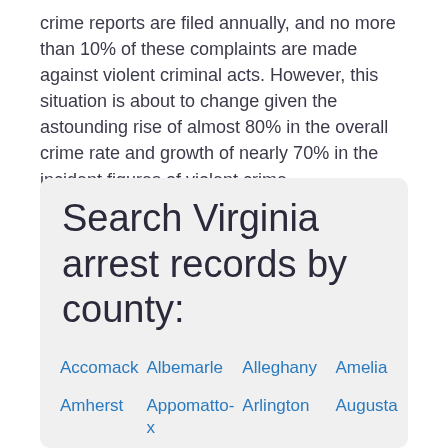crime reports are filed annually, and no more than 10% of these complaints are made against violent criminal acts. However, this situation is about to change given the astounding rise of almost 80% in the overall crime rate and growth of nearly 70% in the incident figures of violent crime.
Search Virginia arrest records by county:
Accomack
Albemarle
Alleghany
Amelia
Amherst
Appomattox
Arlington
Augusta
Bath
Bedford
Bland
Botetourt
Brunswick
Buchanan
Buckingham
Campbell